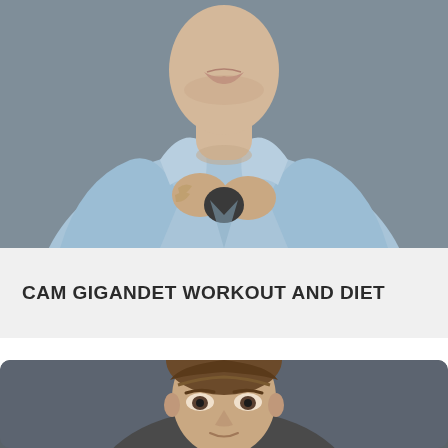[Figure (photo): Upper body of a man wearing a light blue denim shirt, adjusting his collar with both hands, against a grey background. Face partially cropped at top.]
CAM GIGANDET WORKOUT AND DIET
[Figure (photo): Head and upper shoulders of a man with short brown hair, photographed against a dark grey background, slight smile.]